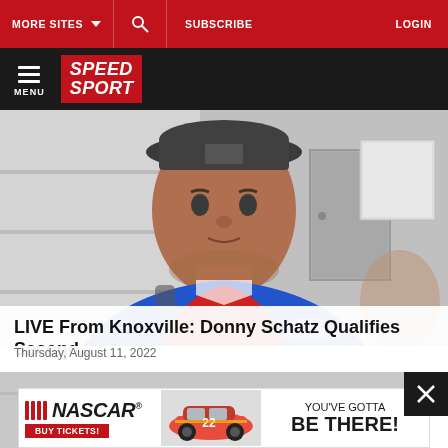MORE SITES   SUBSCRIBE   LOGIN
MENU  SPEED SPORT
[Figure (photo): Man wearing a dark baseball cap and blue/red racing jacket being interviewed, indoor background]
LIVE From Knoxville: Donny Schatz Qualifies Second...
Thursday, August 11, 2022
[Figure (photo): Man with dark hair partially visible at bottom of screen, close-cropped view]
[Figure (infographic): NASCAR advertisement banner: NASCAR BUY TICKETS! YOU'VE GOTTA BE THERE!]